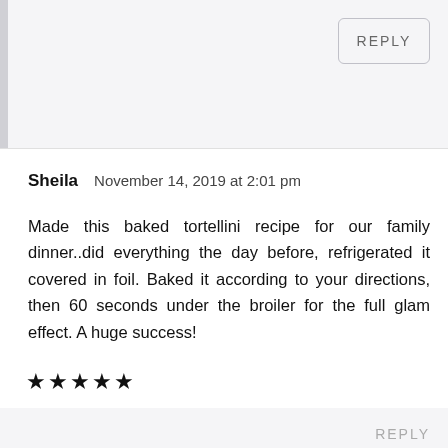REPLY
Sheila   November 14, 2019 at 2:01 pm
Made this baked tortellini recipe for our family dinner..did everything the day before, refrigerated it covered in foil. Baked it according to your directions, then 60 seconds under the broiler for the full glam effect. A huge success!
★★★★★
REPLY